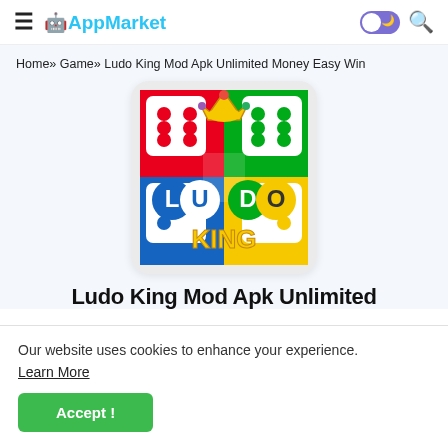≡ AppMarket [toggle] [search]
Home» Game» Ludo King Mod Apk Unlimited Money Easy Win
[Figure (illustration): Ludo King app icon showing a colorful Ludo board game with red, green, blue and yellow quadrants, dice dots, and a gold crown. Text reads LUDO KING in the center.]
Ludo King Mod Apk Unlimited
Our website uses cookies to enhance your experience.
Learn More
Accept !